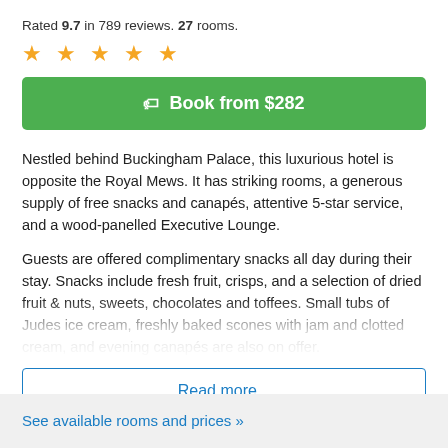Rated 9.7 in 789 reviews. 27 rooms.
★ ★ ★ ★ ★
Book from $282
Nestled behind Buckingham Palace, this luxurious hotel is opposite the Royal Mews. It has striking rooms, a generous supply of free snacks and canapés, attentive 5-star service, and a wood-panelled Executive Lounge.
Guests are offered complimentary snacks all day during their stay. Snacks include fresh fruit, crisps, and a selection of dried fruit & nuts, sweets, chocolates and toffees. Small tubs of Judes ice cream, freshly baked scones with jam and clotted cream, and evening canapés are also on offer.
Read more...
See available rooms and prices »